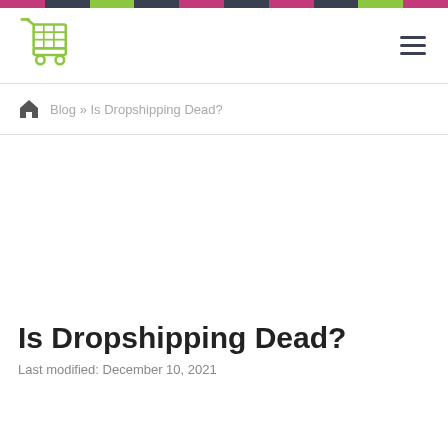[Figure (illustration): Decorative top stripe bar with alternating pink, dark, and green color segments]
[Figure (logo): Green shopping cart icon logo in top left of header]
[Figure (illustration): Hamburger menu icon (three horizontal lines) in top right of header]
Blog » Is Dropshipping Dead?
Is Dropshipping Dead?
Last modified: December 10, 2021